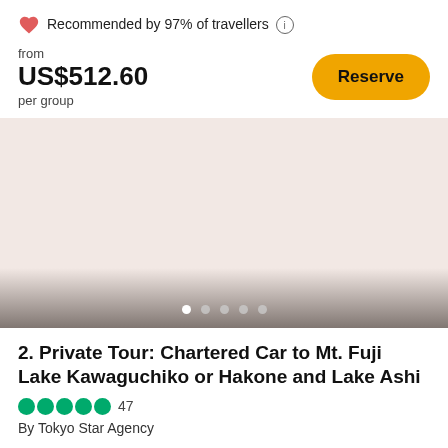Recommended by 97% of travellers
from
US$512.60
per group
[Figure (screenshot): Image carousel placeholder with light beige/pink background and navigation dots at bottom]
2. Private Tour: Chartered Car to Mt. Fuji Lake Kawaguchiko or Hakone and Lake Ashi
47
By Tokyo Star Agency